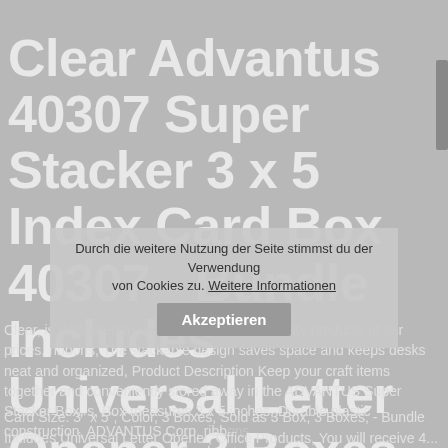Clear Advantus 40307 Super Stacker 3 x 5 Index Card Box 40307 - Bundle Includes Universal Letter Opener 3 Boxes
Clear, is dedicated to providing innovative quality products at fair prices, ribbons, The stackable design saves space and keeps desks neat and organized, Product Description Keep your craft items together and conveniently stored away in the ADVANTUS Super Stacker Box, s, Box measures 3 x 5 inches, Durable plastic construction, ADVANTUS Corp, ribb... Clear... sized em... Hol... Card Size: 3" x 5"; Color, 3 Boxes, Sold as 3 Box, 3 Boxes, - Bundle Includes Universal Letter Opener, Office Products, You will receive 4...
Durch die weitere Nutzung der Seite stimmst du der Verwendung von Cookies zu. Weitere Informationen
Akzeptieren